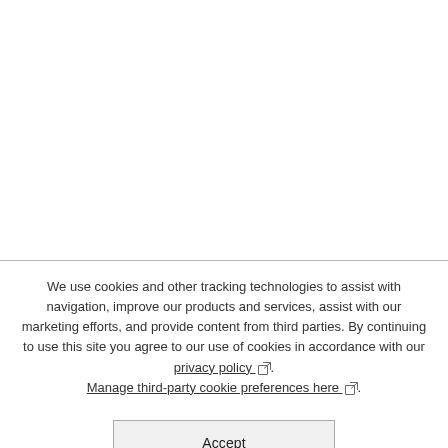We use cookies and other tracking technologies to assist with navigation, improve our products and services, assist with our marketing efforts, and provide content from third parties. By continuing to use this site you agree to our use of cookies in accordance with our privacy policy. Manage third-party cookie preferences here.
Accept